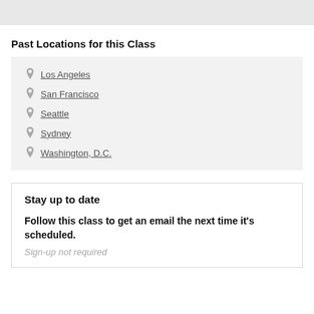Past Locations for this Class
Los Angeles
San Francisco
Seattle
Sydney
Washington, D.C.
Stay up to date
Follow this class to get an email the next time it's scheduled.
Sign-up not required